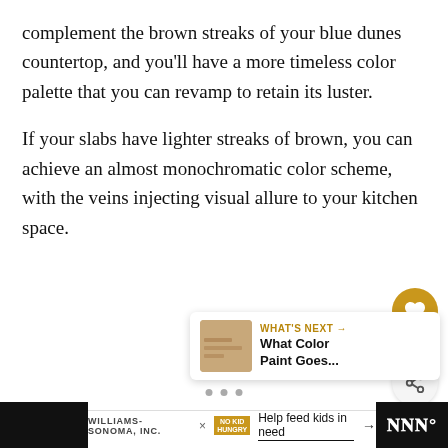complement the brown streaks of your blue dunes countertop, and you'll have a more timeless color palette that you can revamp to retain its luster.
If your slabs have lighter streaks of brown, you can achieve an almost monochromatic color scheme, with the veins injecting visual allure to your kitchen space.
[Figure (infographic): Heart/like button (gold circle with white heart icon) showing count 2, and a share button (white circle with share icon)]
[Figure (infographic): What's Next card with thumbnail image and text: WHAT'S NEXT → What Color Paint Goes...]
[Figure (infographic): Three grey dots navigation indicator]
WILLIAMS-SONOMA, INC. × NO KID HUNGRY   Help feed kids in need →